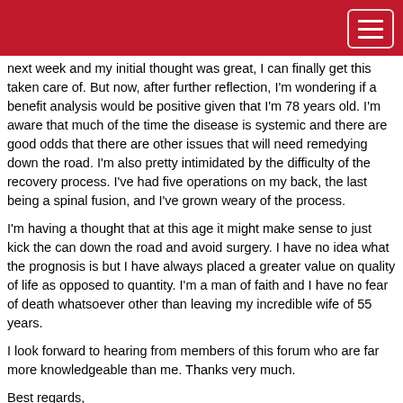next week and my initial thought was great, I can finally get this taken care of. But now, after further reflection, I'm wondering if a benefit analysis would be positive given that I'm 78 years old. I'm aware that much of the time the disease is systemic and there are good odds that there are other issues that will need remedying down the road. I'm also pretty intimidated by the difficulty of the recovery process. I've had five operations on my back, the last being a spinal fusion, and I've grown weary of the process.
I'm having a thought that at this age it might make sense to just kick the can down the road and avoid surgery. I have no idea what the prognosis is but I have always placed a greater value on quality of life as opposed to quantity. I'm a man of faith and I have no fear of death whatsoever other than leaving my incredible wife of 55 years.
I look forward to hearing from members of this forum who are far more knowledgeable than me. Thanks very much.
Best regards,
John Audette
Sisters, Oregon